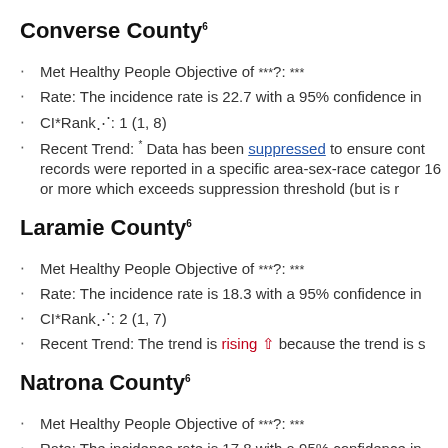Converse County6
Met Healthy People Objective of ***?: ***
Rate : The incidence rate is 22.7 with a 95% confidence in
CI*Rank⋔ : 1 (1, 8)
Recent Trend : * Data has been suppressed to ensure cont records were reported in a specific area-sex-race categor 16 or more which exceeds suppression threshold (but is r
Laramie County6
Met Healthy People Objective of ***?: ***
Rate : The incidence rate is 18.3 with a 95% confidence in
CI*Rank⋔ : 2 (1, 7)
Recent Trend : The trend is rising ↑ because the trend is s
Natrona County6
Met Healthy People Objective of ***?: ***
Rate : The incidence rate is 17.8 with a 95% confidence in